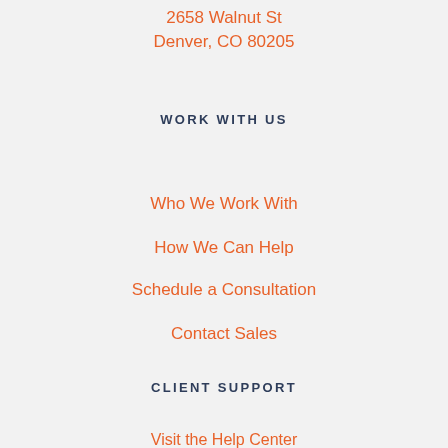2658 Walnut St
Denver, CO 80205
WORK WITH US
Who We Work With
How We Can Help
Schedule a Consultation
Contact Sales
CLIENT SUPPORT
Visit the Help Center
View My Support Tickets
Submit a New Request